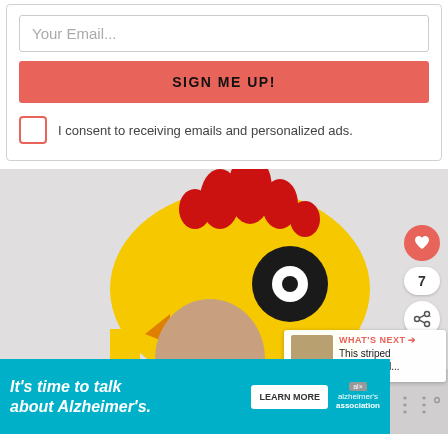Your Email...
SIGN ME UP!
I consent to receiving emails and personalized ads.
[Figure (photo): Person wearing a yellow chicken costume hat holding a cat also wearing a small yellow chicken hat]
7
WHAT'S NEXT → This striped and spotted...
It's time to talk about Alzheimer's.
LEARN MORE